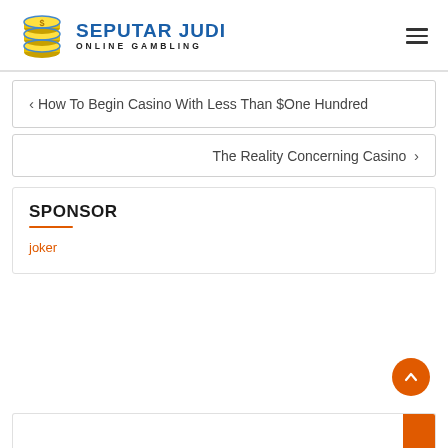[Figure (logo): Seputar Judi Online Gambling logo with coin stack and blue text]
< How To Begin Casino With Less Than $One Hundred
The Reality Concerning Casino >
SPONSOR
joker